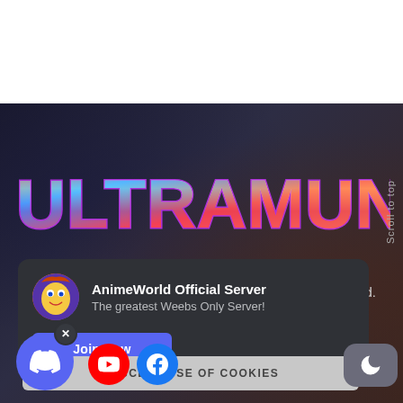[Figure (screenshot): Website screenshot of Ultramunch anime platform showing logo, Discord server invite widget, cookie consent bar, and social media buttons on a dark background]
ULTRAMUNCH
AnimeWorld Official Server
The greatest Weebs Only Server!
Join Now
served.
Scroll to top
I ACCEPT USE OF COOKIES